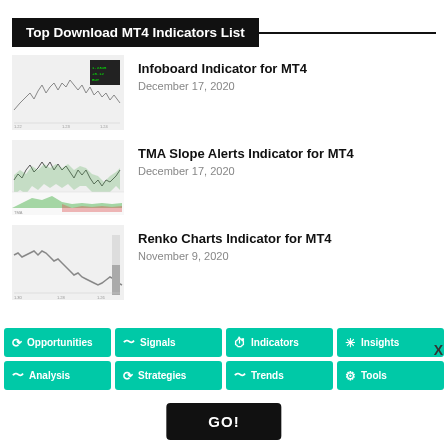Top Download MT4 Indicators List
Infoboard Indicator for MT4
December 17, 2020
TMA Slope Alerts Indicator for MT4
December 17, 2020
Renko Charts Indicator for MT4
November 9, 2020
[Figure (screenshot): Navigation bar with teal buttons: Opportunities, Signals, Indicators, Insights, Analysis, Strategies, Trends, Tools and a close X button]
[Figure (screenshot): Black GO! button at the bottom center]